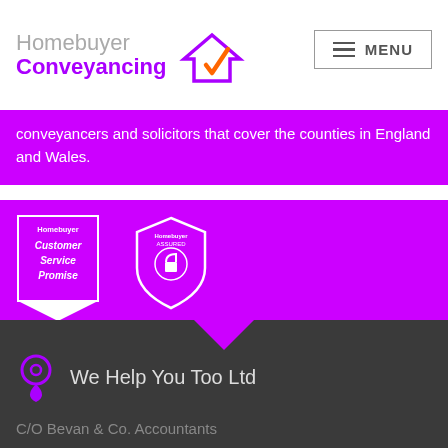[Figure (logo): Homebuyer Conveyancing logo with house and checkmark icon in orange and purple]
conveyancers and solicitors that cover the counties in England and Wales.
[Figure (illustration): Homebuyer Customer Service Promise badge and Homebuyer Assured shield badge on purple background]
[Figure (illustration): Purple downward triangle notch divider]
We Help You Too Ltd
C/O Bevan & Co. Accountants
5A Ack Lane East
Bramhall
Stockport